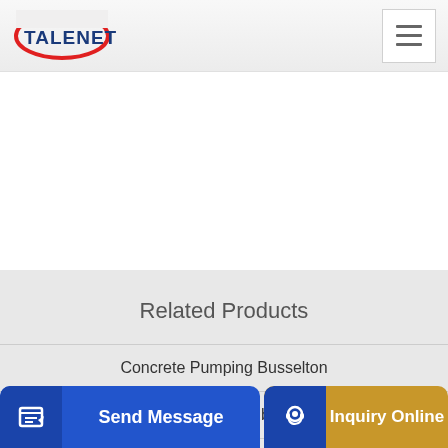TALENET
Related Products
Concrete Pumping Busselton
concrete mixers wholesale buyers importers
aba co...
Send Message | Inquiry Online